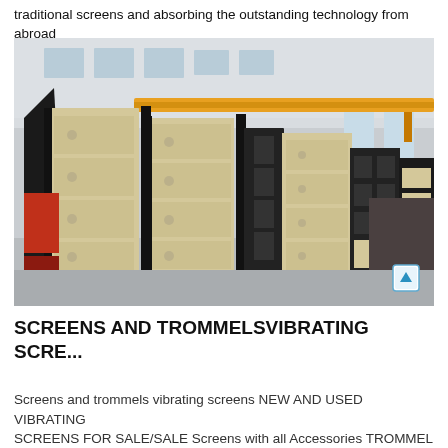traditional screens and absorbing the outstanding technology from abroad
[Figure (photo): Industrial vibrating screens stacked and stored inside a large factory warehouse facility. The screens are painted cream/beige and black with red accent sections, and a yellow overhead crane is visible in the background.]
SCREENS AND TROMMELSVIBRATING SCRE...
Screens and trommels vibrating screens NEW AND USED VIBRATING SCREENS FOR SALE/SALE Screens with all Accessories TROMMEL SCREEN